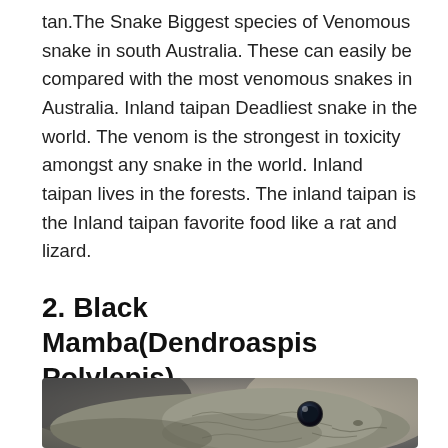tan.The Snake Biggest species of Venomous snake in south Australia. These can easily be compared with the most venomous snakes in Australia. Inland taipan Deadliest snake in the world. The venom is the strongest in toxicity amongst any snake in the world. Inland taipan lives in the forests. The inland taipan is the Inland taipan favorite food like a rat and lizard.
2. Black Mamba(Dendroaspis Polylepis)
[Figure (photo): Close-up photograph of a Black Mamba snake head, showing its scales and dark eye against a blurred background.]